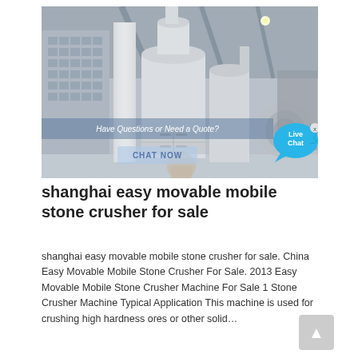[Figure (photo): Industrial grinding/crushing machine (white cylindrical mill with pipes and ducts) inside a factory building. Overlaid text reads 'Have Questions or Need a Quote?' with a 'CHAT NOW' button and a 'Live Chat' bubble in the corner.]
shanghai easy movable mobile stone crusher for sale
shanghai easy movable mobile stone crusher for sale. China Easy Movable Mobile Stone Crusher For Sale. 2013 Easy Movable Mobile Stone Crusher Machine For Sale 1 Stone Crusher Machine Typical Application This machine is used for crushing high hardness ores or other solid…